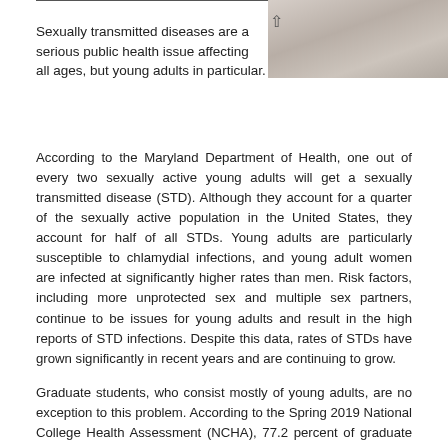[Figure (photo): Photo of hands or people, medical/health context, shown in upper right corner]
Sexually transmitted diseases are a serious public health issue affecting all ages, but young adults in particular.
According to the Maryland Department of Health, one out of every two sexually active young adults will get a sexually transmitted disease (STD). Although they account for a quarter of the sexually active population in the United States, they account for half of all STDs. Young adults are particularly susceptible to chlamydial infections, and young adult women are infected at significantly higher rates than men. Risk factors, including more unprotected sex and multiple sex partners, continue to be issues for young adults and result in the high reports of STD infections. Despite this data, rates of STDs have grown significantly in recent years and are continuing to grow.
Graduate students, who consist mostly of young adults, are no exception to this problem. According to the Spring 2019 National College Health Assessment (NCHA), 77.2 percent of graduate students reported being sexually active in the past year. In terms of risk factors, only 62.8 percent reported using a condom during their sexually active...